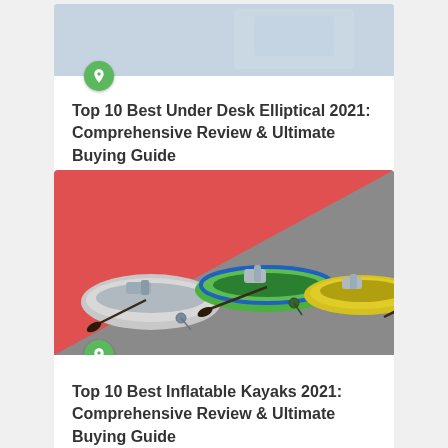[Figure (screenshot): Card image with light blue-gray background for Under Desk Elliptical article]
Top 10 Best Under Desk Elliptical 2021: Comprehensive Review & Ultimate Buying Guide
[Figure (photo): Three inflatable kayaks on a red and gray split diagonal background]
Top 10 Best Inflatable Kayaks 2021: Comprehensive Review & Ultimate Buying Guide